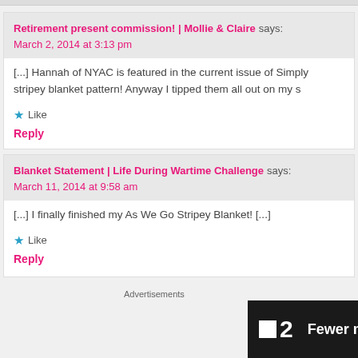Retirement present commission! | Mollie & Claire says: March 2, 2014 at 3:13 pm
[...] Hannah of NYAC is featured in the current issue of Simply stripey blanket pattern! Anyway I tipped them all out on my s
Like
Reply
Blanket Statement | Life During Wartime Challenge says: March 11, 2014 at 9:58 am
[...] I finally finished my As We Go Stripey Blanket! [...]
Like
Reply
[Figure (screenshot): Advertisement banner: dark background with logo '2' and text 'Fewer meetings, more work.']